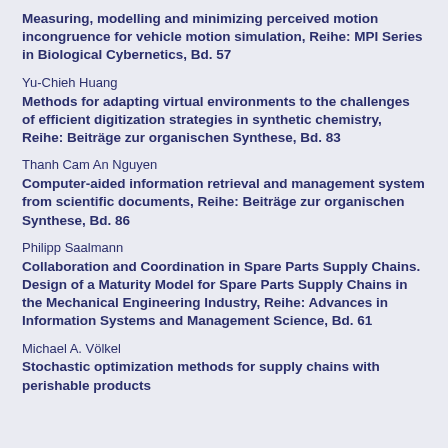Measuring, modelling and minimizing perceived motion incongruence for vehicle motion simulation, Reihe: MPI Series in Biological Cybernetics, Bd. 57
Yu-Chieh Huang
Methods for adapting virtual environments to the challenges of efficient digitization strategies in synthetic chemistry, Reihe: Beiträge zur organischen Synthese, Bd. 83
Thanh Cam An Nguyen
Computer-aided information retrieval and management system from scientific documents, Reihe: Beiträge zur organischen Synthese, Bd. 86
Philipp Saalmann
Collaboration and Coordination in Spare Parts Supply Chains. Design of a Maturity Model for Spare Parts Supply Chains in the Mechanical Engineering Industry, Reihe: Advances in Information Systems and Management Science, Bd. 61
Michael A. Völkel
Stochastic optimization methods for supply chains with perishable products